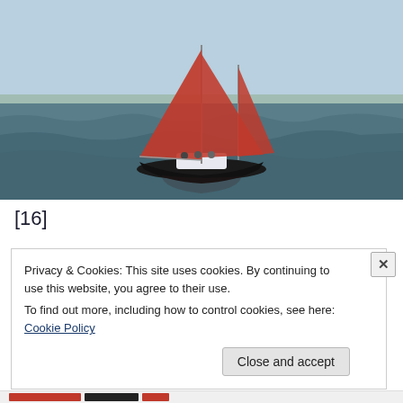[Figure (photo): A sailboat with two red sails on choppy open water under a light blue sky. Several people are visible on board the dark-hulled vessel.]
[16]
Privacy & Cookies: This site uses cookies. By continuing to use this website, you agree to their use.
To find out more, including how to control cookies, see here: Cookie Policy
Close and accept